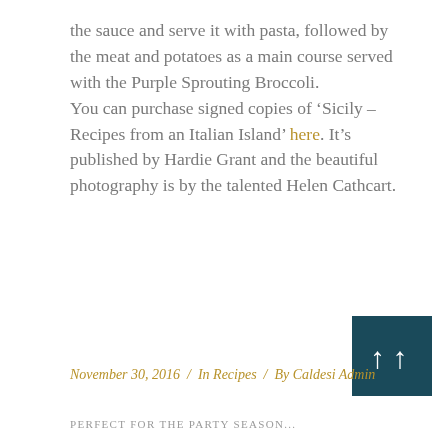the sauce and serve it with pasta, followed by the meat and potatoes as a main course served with the Purple Sprouting Broccoli.
You can purchase signed copies of ‘Sicily – Recipes from an Italian Island’ here. It’s published by Hardie Grant and the beautiful photography is by the talented Helen Cathcart.
[Figure (other): Dark teal square button with two upward-pointing arrows (scroll to top button)]
November 30, 2016 / In Recipes / By Caldesi Admin
PERFECT FOR THE PARTY SEASON...